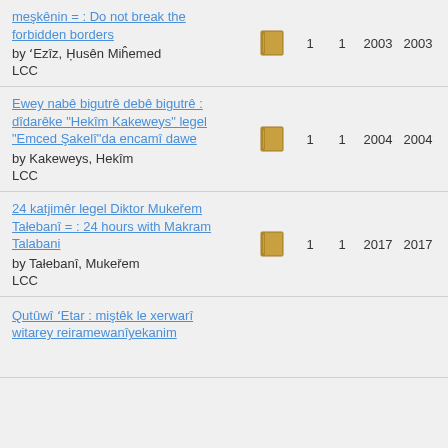meşkênin = : Do not break the forbidden borders by 'Ezîz, Husên Miĥemed LCC | 1 | 1 | 2003 | 2003
Ewey nabê bigutrê debê bigutrê : dîdarêke "Hekîm Kakeweys" legel "Emced Şakelî"da encamî dawe by Kakeweys, Hekîm LCC | 1 | 1 | 2004 | 2004
24 katjimêr legel Diktor Mukeřem Tałebanî = : 24 hours with Makram Talabani by Tałebanî, Mukeřem LCC | 1 | 1 | 2017 | 2017
Qutûwî 'Etar : miştêk le xerwarî witarey reiramewanîyekanim